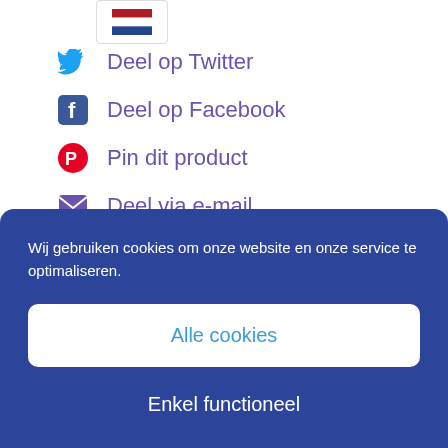[Figure (illustration): Dutch flag emoji/badge in a white rounded rectangle box]
Deel op Twitter
Deel op Facebook
Pin dit product
Deel via e-mail
Beschrijving
Wij gebruiken cookies om onze website en onze service te optimaliseren.
Alle cookies
Enkel functioneel